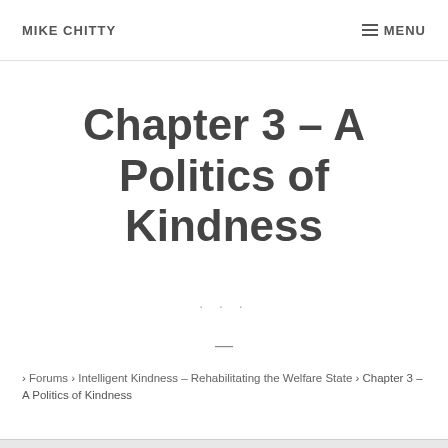MIKE CHITTY    MENU
Chapter 3 – A Politics of Kindness
. . .
—
› Forums › Intelligent Kindness – Rehabilitating the Welfare State › Chapter 3 – A Politics of Kindness